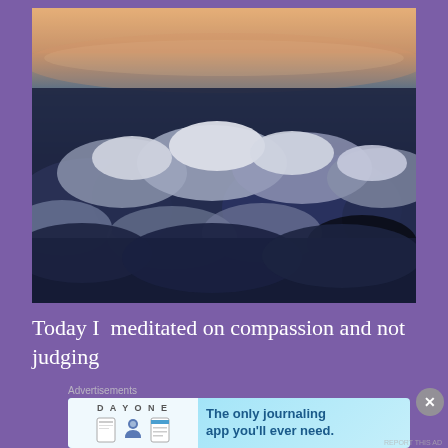[Figure (photo): Aerial view of dramatic cloud cover seen from above, with dark storm clouds below and a warm sunset glow on the horizon. The clouds are layered and billowing, photographed from an airplane perspective.]
Today I  meditated on compassion and not judging
Advertisements
[Figure (screenshot): Advertisement banner for Day One journaling app. Left side shows the Day One logo with illustrated icons (journal, person, notepad). Right side reads: The only journaling app you'll ever need.]